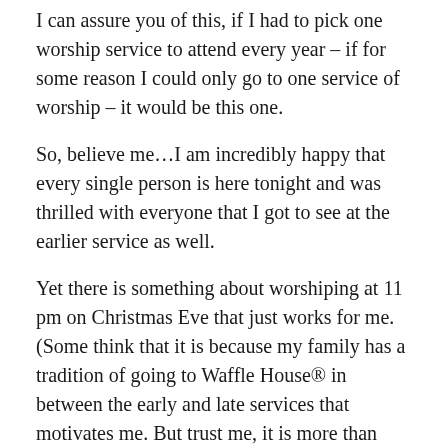I can assure you of this, if I had to pick one worship service to attend every year – if for some reason I could only go to one service of worship – it would be this one.
So, believe me…I am incredibly happy that every single person is here tonight and was thrilled with everyone that I got to see at the earlier service as well.
Yet there is something about worshiping at 11 pm on Christmas Eve that just works for me. (Some think that it is because my family has a tradition of going to Waffle House® in between the early and late services that motivates me. But trust me, it is more than that. Really.)
I think it has something to do with wanting to recreate the experience of that first holy night so long ago. Yes,